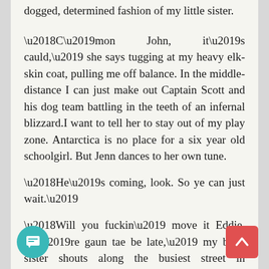dogged, determined fashion of my little sister.
‘C’mon John, it’s cauld,’ she says tugging at my heavy elk-skin coat, pulling me off balance. In the middle-distance I can just make out Captain Scott and his dog team battling in the teeth of an infernal blizzard.I want to tell her to stay out of my play zone. Antarctica is no place for a six year old schoolgirl. But Jenn dances to her own tune.
‘He’s coming, look. So ye can just wait.’
‘Will you fuckin’ move it Eddie. We’re gaun tae be late,’ my baby sister shouts along the busiest street in Cowdenbeath. Mum and Dad don’t swear so where did she get that from? But then of course I know the answer to that one. There’s little point in telling her that it isn’t Eddie Christie, but Captain Scott, the explorer. She can’t see the hooded, elk-skin coat and goggles; just a